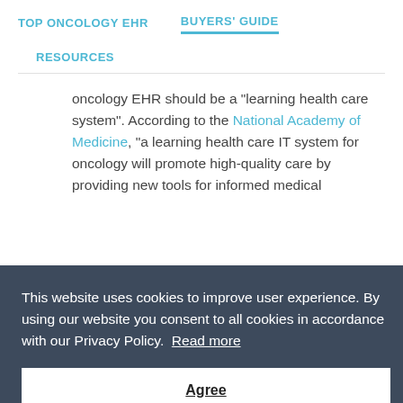TOP ONCOLOGY EHR   BUYERS' GUIDE   RESOURCES
oncology EHR should be a "learning health care system". According to the National Academy of Medicine, "a learning health care IT system for oncology will promote high-quality care by providing new tools for informed medical
This website uses cookies to improve user experience. By using our website you consent to all cookies in accordance with our Privacy Policy.  Read more
Agree
IT capabilities needed to create a learning